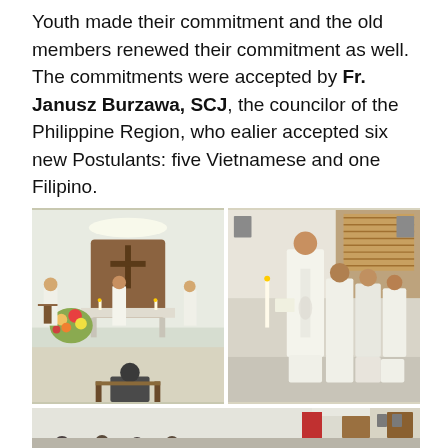Youth made their commitment and the old members renewed their commitment as well. The commitments were accepted by Fr. Janusz Burzawa, SCJ, the councilor of the Philippine Region, who ealier accepted six new Postulants: five Vietnamese and one Filipino.
[Figure (photo): Left photo: A chapel interior with priests celebrating Mass at an altar decorated with floral arrangements; a crucifix on the wooden backdrop. Right photo: Clergy in white vestments kneeling on the floor, one standing priest reads from a book, others kneel behind.]
[Figure (photo): Bottom photo: A wide room with people seated, partially visible, showing an interior with doors and wall decorations.]